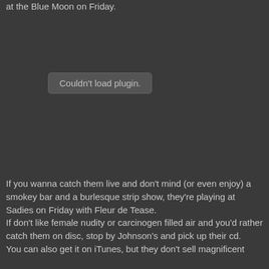at the Blue Moon on Friday.
[Figure (other): Embedded plugin area showing 'Couldn't load plugin.' error message in a grey rounded rectangle on a dark background]
If you wanna catch them live and don't mind (or even enjoy) a smokey bar and a burlesque strip show, they're playing at Sadies on Friday with Fleur de Tease.
If don't like female nudity or carcinogen filled air and you'd rather catch them on disc, stop by Johnson's and pick up their cd.
You can also get it on iTunes, but they don't sell magnificent